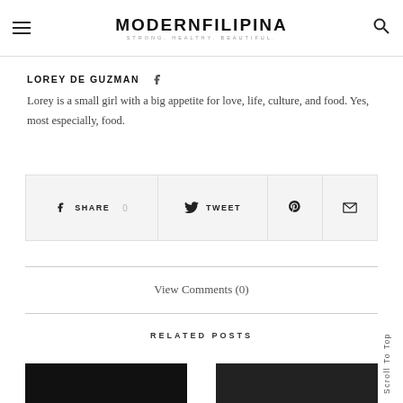MODERNFILIPINA — STRONG. HEALTHY. BEAUTIFUL.
LOREY DE GUZMAN
Lorey is a small girl with a big appetite for love, life, culture, and food. Yes, most especially, food.
SHARE 0  TWEET  [Pinterest]  [Email]
View Comments (0)
RELATED POSTS